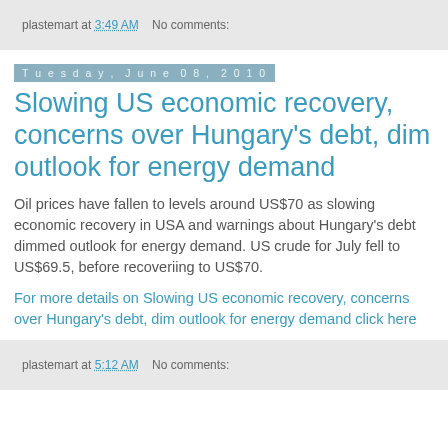plastemart at 3:49 AM   No comments:
Tuesday, June 08, 2010
Slowing US economic recovery, concerns over Hungary's debt, dim outlook for energy demand
Oil prices have fallen to levels around US$70 as slowing economic recovery in USA and warnings about Hungary's debt dimmed outlook for energy demand. US crude for July fell to US$69.5, before recoveriing to US$70.
For more details on Slowing US economic recovery, concerns over Hungary's debt, dim outlook for energy demand click here
plastemart at 5:12 AM   No comments: